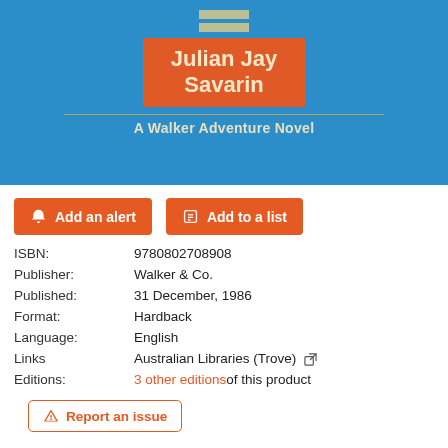[Figure (photo): Book cover with blue background, orange rectangle containing author name 'Julian Jay Savarin' in cream text, decorative cream bars above, and subtitle 'A Walker Adventure Novel' in cream text below a dividing line.]
Add an alert
Add to a list
| ISBN: | 9780802708908 |
| Publisher: | Walker & Co. |
| Published: | 31 December, 1986 |
| Format: | Hardback |
| Language: | English |
| Links | Australian Libraries (Trove) [external link] |
| Editions: | 3 other editions of this product |
Report an issue
Part of David Pross (Series)
Others in this series:
Lynx